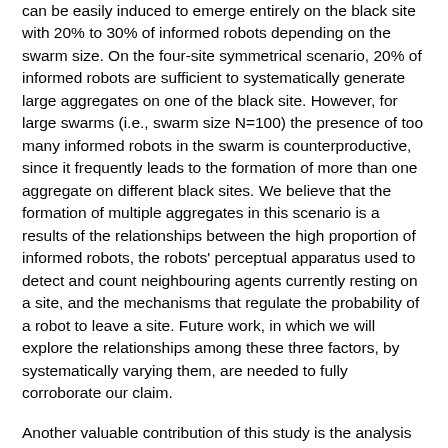can be easily induced to emerge entirely on the black site with 20% to 30% of informed robots depending on the swarm size. On the four-site symmetrical scenario, 20% of informed robots are sufficient to systematically generate large aggregates on one of the black site. However, for large swarms (i.e., swarm size N=100) the presence of too many informed robots in the swarm is counterproductive, since it frequently leads to the formation of more than one aggregate on different black sites. We believe that the formation of multiple aggregates in this scenario is a results of the relationships between the high proportion of informed robots, the robots' perceptual apparatus used to detect and count neighbouring agents currently resting on a site, and the mechanisms that regulate the probability of a robot to leave a site. Future work, in which we will explore the relationships among these three factors, by systematically varying them, are needed to fully corroborate our claim.
Another valuable contribution of this study is the analysis of the ODEs model discussed in (Amé et al., 2006) to account for the dynamics of self-organised aggregation observed in cockroaches by calling upon the principle of attraction between individuals. In (Amé et al., 2006) and in (Garnier et al., 2010), this model is used to investigate...